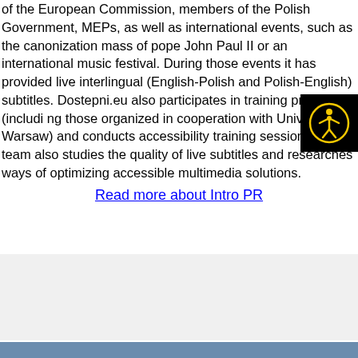of the European Commission, members of the Polish Government, MEPs, as well as international events, such as the canonization mass of pope John Paul II or an international music festival. During those events it has provided live interlingual (English-Polish and Polish-English) subtitles. Dostepni.eu also participates in training projects (including those organized in cooperation with University of Warsaw) and conducts accessibility training sessions. The team also studies the quality of live subtitles and researches ways of optimizing accessible multimedia solutions.
Read more about Intro PR
[Figure (other): Accessibility button icon — black square with yellow person/wheelchair symbol]